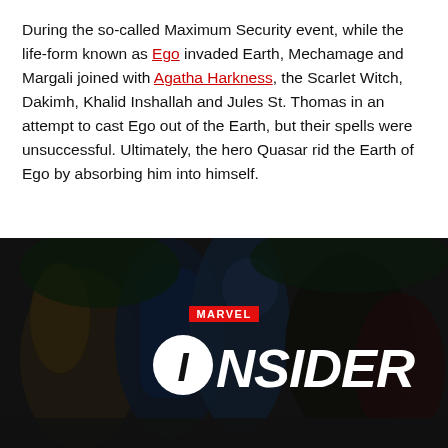During the so-called Maximum Security event, while the life-form known as Ego invaded Earth, Mechamage and Margali joined with Agatha Harkness, the Scarlet Witch, Dakimh, Khalid Inshallah and Jules St. Thomas in an attempt to cast Ego out of the Earth, but their spells were unsuccessful. Ultimately, the hero Quasar rid the Earth of Ego by absorbing him into himself.
[Figure (illustration): Dark Marvel Insider promotional banner featuring comic book artwork of Marvel superheroes (Thor, Captain America, Black Widow and others) in a dark background with the Marvel Insider logo prominently displayed in white and red.]